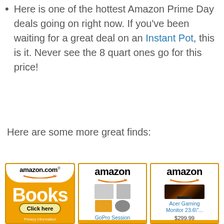Here is one of the hottest Amazon Prime Day deals going on right now. If you've been waiting for a great deal on an Instant Pot, this is it. Never see the 8 quart ones go for this price!
Here are some more great finds:
[Figure (screenshot): Three Amazon product advertisement panels side by side. First: Amazon.com Books ad with orange background and 'Click here' button. Second: Amazon ad for GoPro Session w/ GoPro... Third: Amazon ad for Acer Gaming Monitor 23.6"... priced at $299.99.]